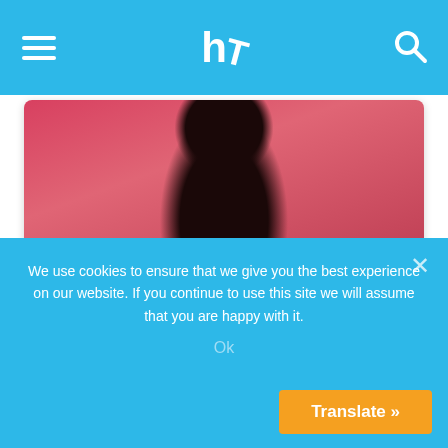hc (logo) — navigation bar with hamburger menu and search icon
[Figure (photo): Photo of a woman with long dark wavy hair wearing a black top against a red background]
The 10 Most Irresistible Asian Actresses
Brainberries
[Figure (photo): Photo of a man (resembling Steve Irwin) interacting with a crocodile in front of a crowd of spectators behind a fence]
We use cookies to ensure that we give you the best experience on our website. If you continue to use this site we will assume that you are happy with it.
Ok
Translate »